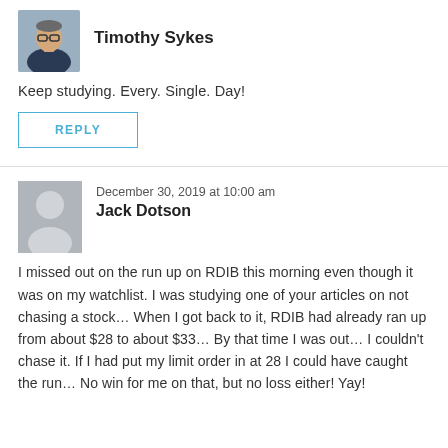[Figure (photo): Profile photo of Timothy Sykes, a man with glasses wearing a dark jacket]
Timothy Sykes
Keep studying. Every. Single. Day!
REPLY
December 30, 2019 at 10:00 am
[Figure (illustration): Generic grey avatar silhouette for Jack Dotson]
Jack Dotson
I missed out on the run up on RDIB this morning even though it was on my watchlist. I was studying one of your articles on not chasing a stock… When I got back to it, RDIB had already ran up from about $28 to about $33… By that time I was out… I couldn't chase it. If I had put my limit order in at 28 I could have caught the run… No win for me on that, but no loss either! Yay!